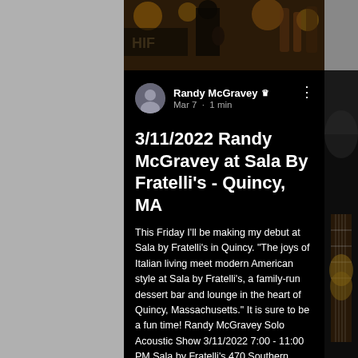[Figure (photo): Top photo strip showing a performer on stage with warm/golden lighting]
Randy McGravey 👑
Mar 7 · 1 min
3/11/2022 Randy McGravey at Sala By Fratelli's - Quincy, MA
This Friday I'll be making my debut at Sala by Fratelli's in Quincy. "The joys of Italian living meet modern American style at Sala by Fratelli's, a family-run dessert bar and lounge in the heart of Quincy, Massachusetts." It is sure to be a fun time! Randy McGravey Solo Acoustic Show 3/11/2022 7:00 - 11:00 PM Sala by Fratelli's 470 Southern Artery #2 Quincy, MA 02169 #livemusic #singingguitarist #singersongwriter #quincy #quincyma
[Figure (photo): Right side photo showing guitar neck/fretboard being played]